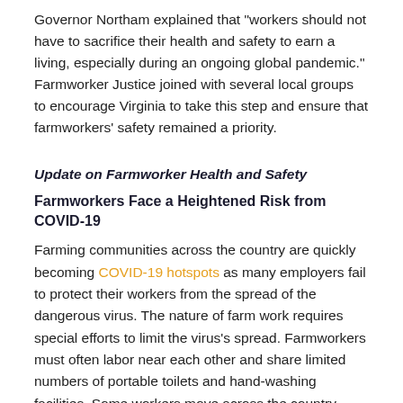Governor Northam explained that "workers should not have to sacrifice their health and safety to earn a living, especially during an ongoing global pandemic." Farmworker Justice joined with several local groups to encourage Virginia to take this step and ensure that farmworkers' safety remained a priority.
Update on Farmworker Health and Safety
Farmworkers Face a Heightened Risk from COVID-19
Farming communities across the country are quickly becoming COVID-19 hotspots as many employers fail to protect their workers from the spread of the dangerous virus. The nature of farm work requires special efforts to limit the virus's spread. Farmworkers must often labor near each other and share limited numbers of portable toilets and hand-washing facilities. Some workers move across the country following the crop season. They are often forced to sleep in crowded dormitories, share buses to and from the fields, and package